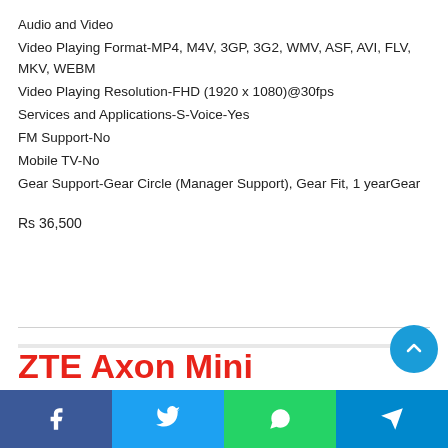Audio and Video
Video Playing Format-MP4, M4V, 3GP, 3G2, WMV, ASF, AVI, FLV, MKV, WEBM
Video Playing Resolution-FHD (1920 x 1080)@30fps
Services and Applications-S-Voice-Yes
FM Support-No
Mobile TV-No
Gear Support-Gear Circle (Manager Support), Gear Fit, 1 yearGear
Rs 36,500
ZTE Axon Mini